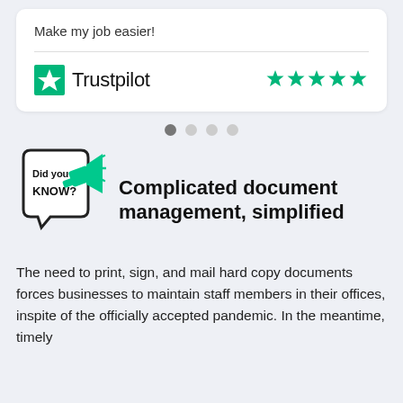Make my job easier!
[Figure (logo): Trustpilot logo with green star icon and the word Trustpilot, plus five green stars rating on the right]
[Figure (infographic): Four pagination dots, first one dark/active, remaining three light grey]
[Figure (illustration): Did You Know? speech bubble illustration with a green megaphone]
Complicated document management, simplified
The need to print, sign, and mail hard copy documents forces businesses to maintain staff members in their offices, inspite of the officially accepted pandemic. In the meantime, timely